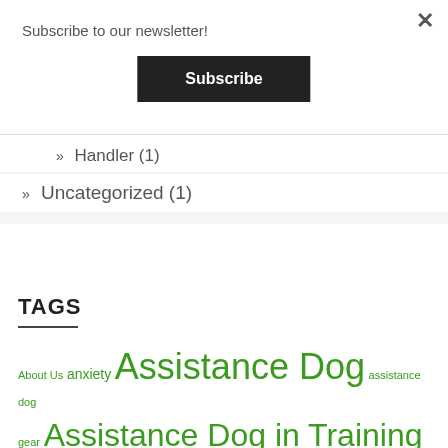Subscribe to our newsletter!
Subscribe
Handler (1)
Uncategorized (1)
TAGS
About Us  anxiety  Assistance Dog  assistance dog gear  Assistance Dog in Training  Assistance Dog Prospect  Assistance Dog